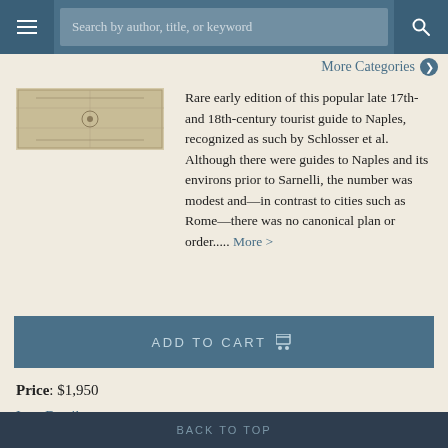Search by author, title, or keyword
More Categories ›
[Figure (photo): Thumbnail image of a book or map, appearing to show a folded map or decorative page spread]
Rare early edition of this popular late 17th- and 18th-century tourist guide to Naples, recognized as such by Schlosser et al. Although there were guides to Naples and its environs prior to Sarnelli, the number was modest and—in contrast to cities such as Rome—there was no canonical plan or order..... More ›
ADD TO CART
Price: $1,950
Item Details
Ask a Question
BACK TO TOP